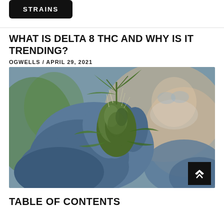STRAINS
WHAT IS DELTA 8 THC AND WHY IS IT TRENDING?
OGWELLS / APRIL 29, 2021
[Figure (photo): Gloved hands in blue nitrile gloves holding a cannabis bud, researcher wearing mask in background]
TABLE OF CONTENTS